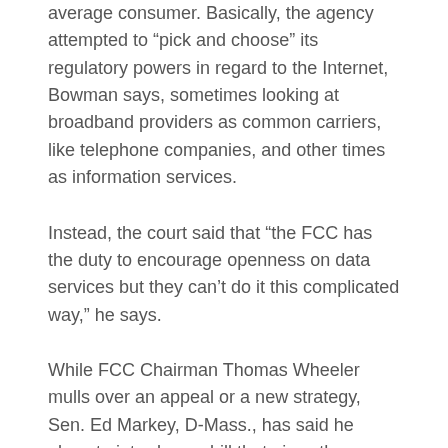average consumer. Basically, the agency attempted to “pick and choose” its regulatory powers in regard to the Internet, Bowman says, sometimes looking at broadband providers as common carriers, like telephone companies, and other times as information services.
Instead, the court said that “the FCC has the duty to encourage openness on data services but they can’t do it this complicated way,” he says.
While FCC Chairman Thomas Wheeler mulls over an appeal or a new strategy, Sen. Ed Markey, D-Mass., has said he plans to introduce a bill that gives the agency the power to “preserve competition and safeguard consumers.”